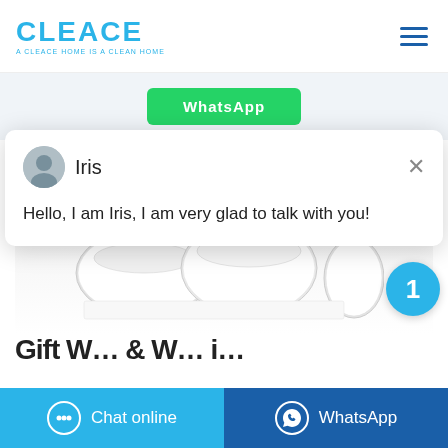[Figure (logo): CLEACE logo in blue with tagline 'A CLEACE HOME IS A CLEAN HOME']
[Figure (screenshot): Green WhatsApp button partially visible at top]
[Figure (photo): Product photo showing white paper towel rolls]
Gift W... & W... i...
[Figure (infographic): Live chat popup with avatar of Iris and message: Hello, I am Iris, I am very glad to talk with you!]
Iris
Hello, I am Iris, I am very glad to talk with you!
[Figure (infographic): Cyan circular notification badge showing number 1]
Chat online
WhatsApp